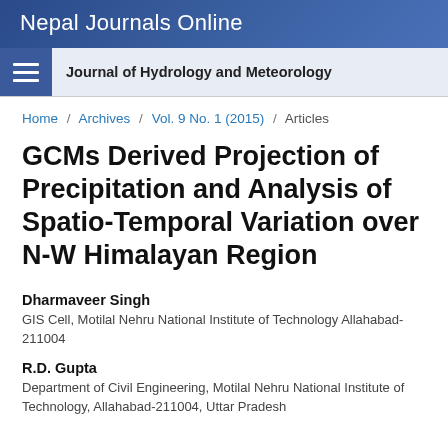Nepal Journals Online
Journal of Hydrology and Meteorology
Home / Archives / Vol. 9 No. 1 (2015) / Articles
GCMs Derived Projection of Precipitation and Analysis of Spatio-Temporal Variation over N-W Himalayan Region
Dharmaveer Singh
GIS Cell, Motilal Nehru National Institute of Technology Allahabad-211004
R.D. Gupta
Department of Civil Engineering, Motilal Nehru National Institute of Technology, Allahabad-211004, Uttar Pradesh